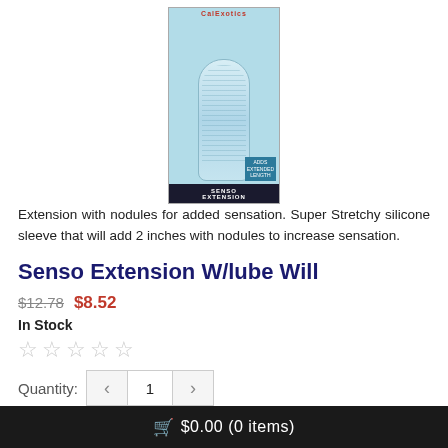[Figure (photo): Product photo of Senso Extension silicone sleeve in teal packaging]
Extension with nodules for added sensation. Super Stretchy silicone sleeve that will add 2 inches with nodules to increase sensation.
Senso Extension W/lube Will
$12.78  $8.52
In Stock
☆☆☆☆☆
Quantity:  1
🛒 $0.00 (0 items)